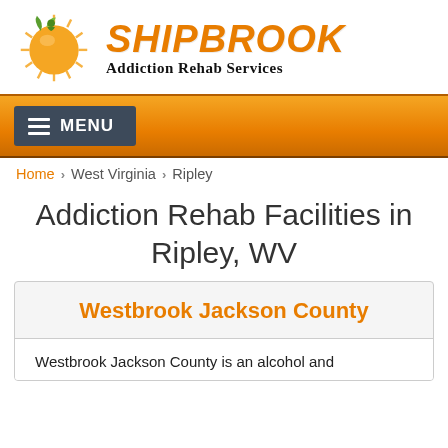[Figure (logo): Shipbrook Addiction Rehab Services logo with orange sunburst and leaf icon]
SHIPBROOK Addiction Rehab Services
[Figure (screenshot): Orange navigation bar with hamburger MENU button]
Home › West Virginia › Ripley
Addiction Rehab Facilities in Ripley, WV
Westbrook Jackson County
Westbrook Jackson County is an alcohol and